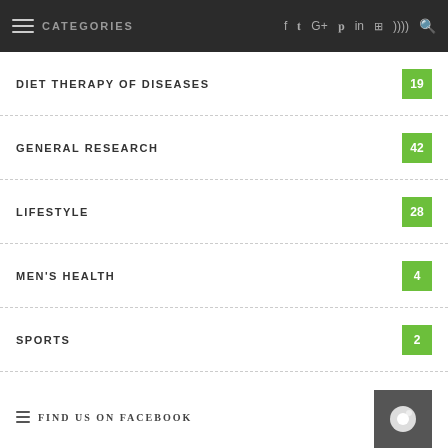CATEGORIES | f t G+ p in flickr rss search
DIET THERAPY OF DISEASES 19
GENERAL RESEARCH 42
LIFESTYLE 28
MEN'S HEALTH 4
SPORTS 2
UNCATEGORIZED 261
WOMEN'S HEALTH 8
FIND US ON FACEBOOK